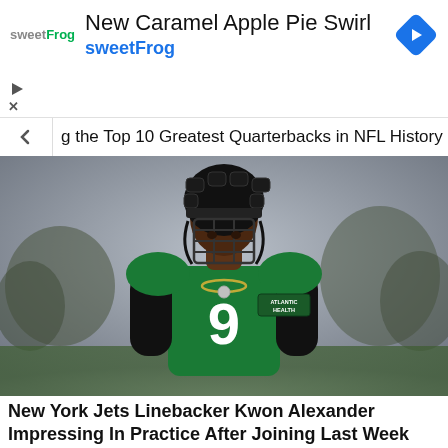[Figure (other): sweetFrog advertisement banner showing logo, 'New Caramel Apple Pie Swirl' text, sweetFrog brand name in blue, and a blue navigation arrow icon]
g the Top 10 Greatest Quarterbacks in NFL History
[Figure (photo): New York Jets linebacker Kwon Alexander wearing number 9 green jersey with black long sleeves and a padded helmet/cap, standing on a practice field. Jersey has ATLANTIC HEALTH sponsor patch.]
New York Jets Linebacker Kwon Alexander Impressing In Practice After Joining Last Week